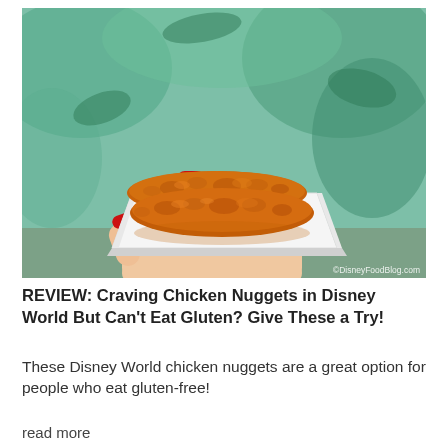[Figure (photo): A hand with red-painted nails holding a white paper tray containing two golden-brown breaded chicken tenders/strips. The background shows a colorful illustrated wall mural with green and teal tones. A watermark reads ©DisneyFoodBlog.com in the lower right corner.]
REVIEW: Craving Chicken Nuggets in Disney World But Can't Eat Gluten? Give These a Try!
These Disney World chicken nuggets are a great option for people who eat gluten-free!
read more